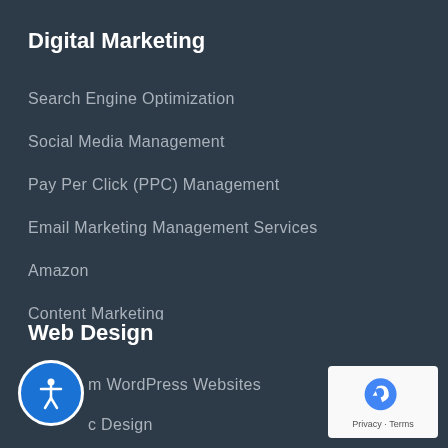Digital Marketing
Search Engine Optimization
Social Media Management
Pay Per Click (PPC) Management
Email Marketing Management Services
Amazon
Content Marketing
Influencer Marketing
Conversion Rate Optimization
Web Design
Custom WordPress Websites
Graphic Design